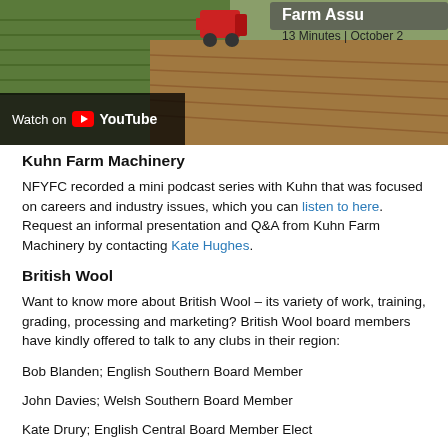[Figure (photo): Aerial view of farm field with tractor and crops, with YouTube overlay 'Watch on YouTube'. Partially visible header text '...n Assu...' and '13 Minutes | October 2...' on the right side.]
Kuhn Farm Machinery
NFYFC recorded a mini podcast series with Kuhn that was focused on careers and industry issues, which you can listen to here. Request an informal presentation and Q&A from Kuhn Farm Machinery by contacting Kate Hughes.
British Wool
Want to know more about British Wool – its variety of work, training, grading, processing and marketing? British Wool board members have kindly offered to talk to any clubs in their region:
Bob Blanden; English Southern Board Member
John Davies; Welsh Southern Board Member
Kate Drury; English Central Board Member Elect